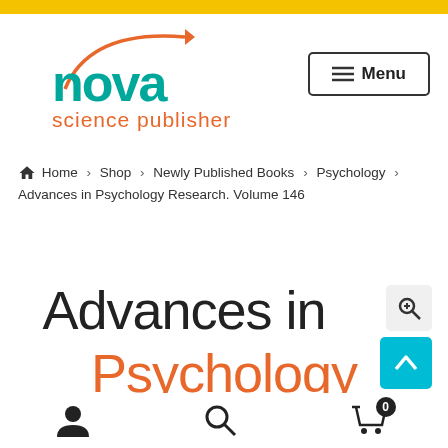[Figure (logo): Nova Science Publishers logo with orange arc and arrow above teal 'nova' text and orange 'science publishers' text]
☰ Menu
Home > Shop > Newly Published Books > Psychology > Advances in Psychology Research. Volume 146
Advances in
Psychology (partially visible)